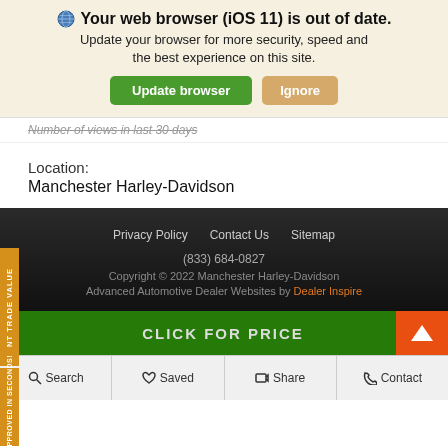[Figure (screenshot): Browser update notification banner with globe icon, bold title 'Your web browser (iOS 11) is out of date.', subtitle text, and two buttons: 'Update browser' (green) and 'Ignore' (tan/orange)]
Number of views in last 30 days
Location:
Manchester Harley-Davidson
Privacy Policy   Contact Us   Sitemap
(833) 684-0827
Copyright © 2022 Manchester Harley-Davidson
Advanced Automotive Dealer Websites by Dealer Inspire
CLICK FOR PRICE
Search   Saved   Share   Contact